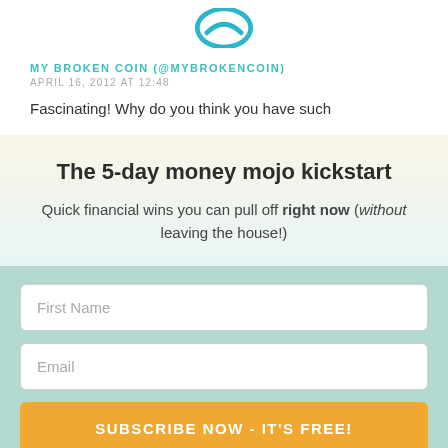[Figure (logo): Circular blue logo icon at the top center]
MY BROKEN COIN (@MYBROKENCOIN)
APRIL 16, 2012 AT 12:48
Fascinating! Why do you think you have such
The 5-day money mojo kickstart
Quick financial wins you can pull off right now (without leaving the house!)
First Name
Email
SUBSCRIBE NOW - IT'S FREE!